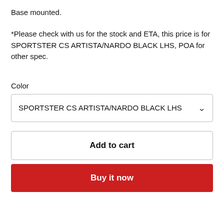Base mounted.
*Please check with us for the stock and ETA, this price is for SPORTSTER CS ARTISTA/NARDO BLACK LHS, POA for other spec.
Color
SPORTSTER CS ARTISTA/NARDO BLACK LHS
Add to cart
Buy it now